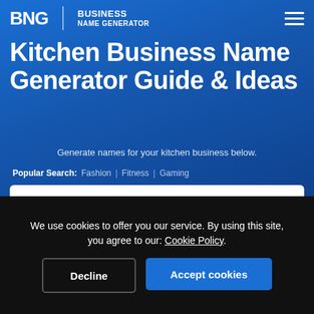BNG | BUSINESS NAME GENERATOR
Kitchen Business Name Generator Guide & Ideas
Generate names for your kitchen business below.
Popular Search: Fashion | Fitness | Gaming
[Figure (other): Search input box with placeholder text: Ex. Tech, Marketing, Agency]
We use cookies to offer you our service. By using this site, you agree to our: Cookie Policy.
Decline | Accept cookies